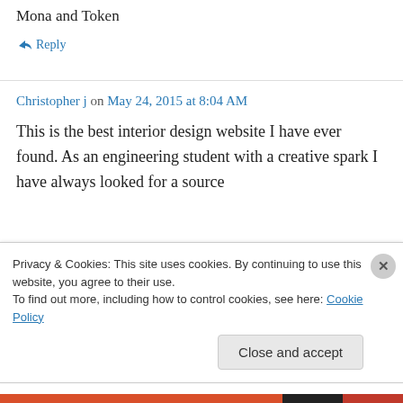Mona and Token
↳ Reply
Christopher j on May 24, 2015 at 8:04 AM
This is the best interior design website I have ever found. As an engineering student with a creative spark I have always looked for a source
Privacy & Cookies: This site uses cookies. By continuing to use this website, you agree to their use.
To find out more, including how to control cookies, see here: Cookie Policy
Close and accept